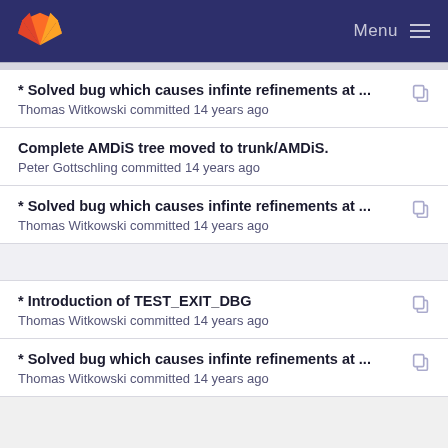GitLab — Menu
* Solved bug which causes infinte refinements at ...
Thomas Witkowski committed 14 years ago
Complete AMDiS tree moved to trunk/AMDiS.
Peter Gottschling committed 14 years ago
* Solved bug which causes infinte refinements at ...
Thomas Witkowski committed 14 years ago
* Introduction of TEST_EXIT_DBG
Thomas Witkowski committed 14 years ago
* Solved bug which causes infinte refinements at ...
Thomas Witkowski committed 14 years ago